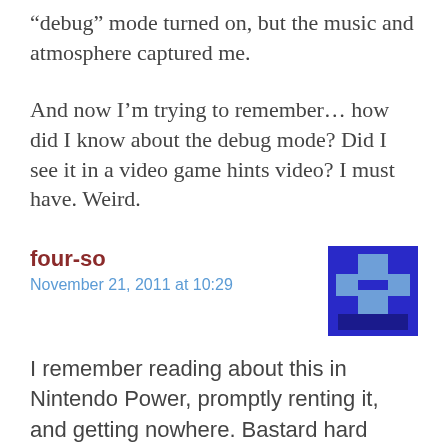“debug” mode turned on, but the music and atmosphere captured me.
And now I’m trying to remember… how did I know about the debug mode? Did I see it in a video game hints video? I must have. Weird.
four-so
November 21, 2011 at 10:29
[Figure (illustration): Pixel art avatar: blue character with cross/plus shape on blue background]
I remember reading about this in Nintendo Power, promptly renting it, and getting nowhere. Bastard hard game. I love almost everything about it,